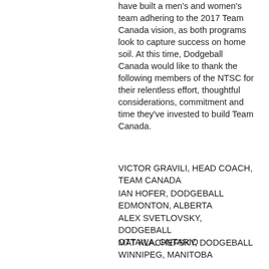have built a men's and women's team adhering to the 2017 Team Canada vision, as both programs look to capture success on home soil. At this time, Dodgeball Canada would like to thank the following members of the NTSC for their relentless effort, thoughtful considerations, commitment and time they've invested to build Team Canada.
VICTOR GRAVILI, HEAD COACH, TEAM CANADA
IAN HOFER, DODGEBALL EDMONTON, ALBERTA
ALEX SVETLOVSKY, DODGEBALL OTTAWA, ONTARIO
MAT KLACHEFSKY, DODGEBALL WINNIPEG, MANITOBA